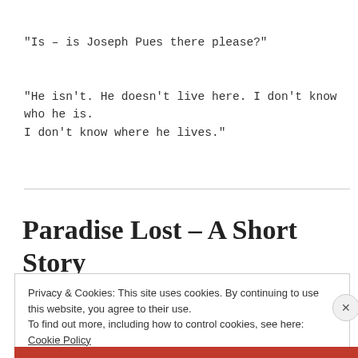"Is – is Joseph Pues there please?"
"He isn't. He doesn't live here. I don't know who he is. I don't know where he lives."
Paradise Lost – A Short Story
JUNE 16, 2017  ~  2 COMMENTS
Privacy & Cookies: This site uses cookies. By continuing to use this website, you agree to their use. To find out more, including how to control cookies, see here: Cookie Policy
Close and accept